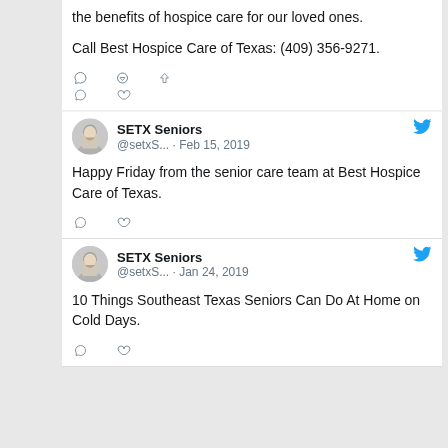the benefits of hospice care for our loved ones.
Call Best Hospice Care of Texas: (409) 356-9271.
SETX Seniors @setxS... · Feb 15, 2019 Happy Friday from the senior care team at Best Hospice Care of Texas.
SETX Seniors @setxS... · Jan 24, 2019 10 Things Southeast Texas Seniors Can Do At Home on Cold Days.